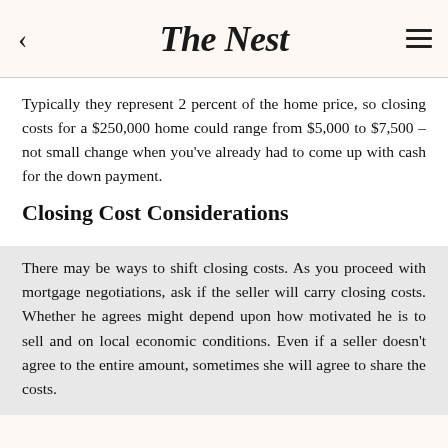The Nest
Typically they represent 2 percent of the home price, so closing costs for a $250,000 home could range from $5,000 to $7,500 – not small change when you've already had to come up with cash for the down payment.
Closing Cost Considerations
There may be ways to shift closing costs. As you proceed with mortgage negotiations, ask if the seller will carry closing costs. Whether he agrees might depend upon how motivated he is to sell and on local economic conditions. Even if a seller doesn't agree to the entire amount, sometimes she will agree to share the costs.